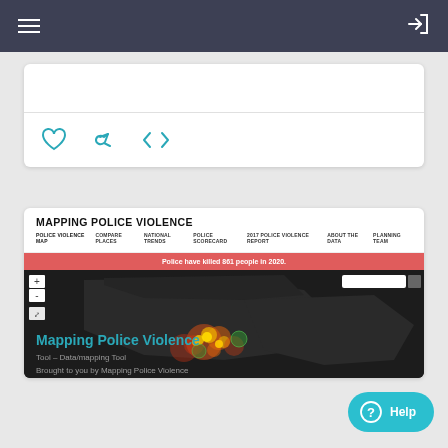Navigation bar with hamburger menu and login icon
[Figure (screenshot): Card with social action icons: heart (like), share (arrow), and embed (code brackets) in teal outline style]
[Figure (screenshot): Mapping Police Violence website screenshot showing site header with navigation: POLICE VIOLENCE MAP, COMPARE PLACES, NATIONAL TRENDS, POLICE SCORECARD, 2017 POLICE VIOLENCE REPORT, ABOUT THE DATA, PLANNING TEAM. Red alert bar reading 'Police have killed 861 people in 2020.' Dark map of North America with heat-map dots concentrated in southern US regions.]
Mapping Police Violence
Tool – Data/mapping Tool
Brought to you by Mapping Police Violence